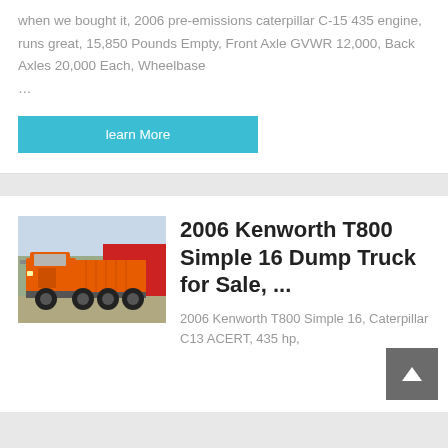when we bought it, 2006 pre-emissions caterpillar C-15 435 engine, runs great, 15,850 Pounds Empty, Front Axle GVWR 12,000, Back Axles 20,000 Each, Wheelbase ...
learn More
[Figure (photo): Orange dump truck / heavy vehicle photographed outdoors with a red banner/building in the background]
2006 Kenworth T800 Simple 16 Dump Truck for Sale, ...
2006 Kenworth T800 Simple 16, Caterpillar C13 ACERT, 435 hp,